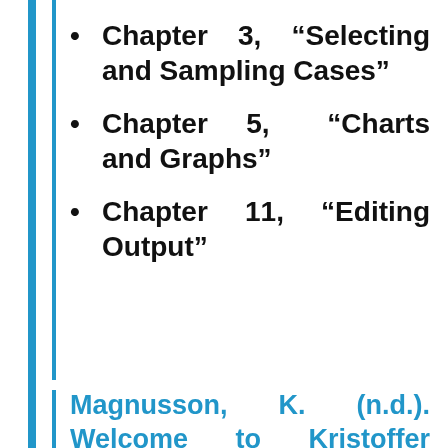Chapter 3, “Selecting and Sampling Cases”
Chapter 5, “Charts and Graphs”
Chapter 11, “Editing Output”
Magnusson, K. (n.d.). Welcome to Kristoffer Magnusson’s blog about R, Statistics